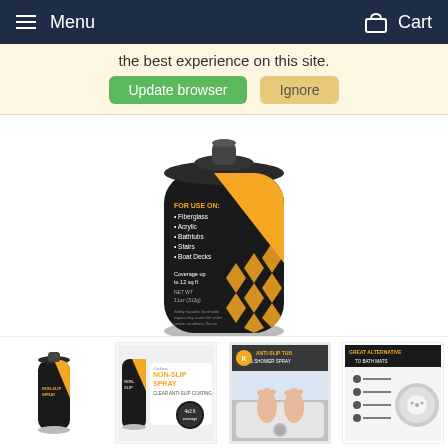Menu  Cart
the best experience on this site.
Update browser   Ignore
[Figure (photo): Main product image: a black and yellow aerosol spray can labeled NON-SLIP SPRAY. The label reads FOR USE ON: Fiberglass, Acrylic, Bathtubs, Stairs, Boat Decks. Coverage up to 12 sq ft. NET WT 11oz (312g). Yellow diamond pattern on black background.]
[Figure (photo): Thumbnail 1: Small spray can with NON-SLIP SPRAY label, black and yellow.]
[Figure (photo): Thumbnail 2: NON-SLIP SPRAY product box/marketing image showing spray can with text 'NON-SLIP SPRAY CLEAR ANTI-SLIP COATING' and coverage 4x2 ft.]
[Figure (photo): Thumbnail 3: ANTI-SLIP TUB & SHOWER SPRAY - person's bare feet in a bathtub.]
[Figure (photo): Thumbnail 4: GREAT ALTERNATIVE TO BATH MATS - product packaging with grey circular mat-like product and bullet points.]